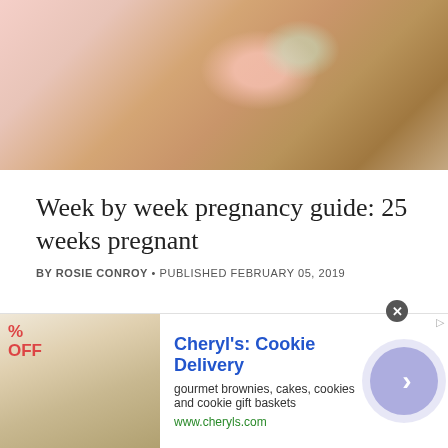[Figure (photo): Hero image showing a pregnant woman with flowers and a tan/brown knit blanket, soft warm tones]
Week by week pregnancy guide: 25 weeks pregnant
BY ROSIE CONROY • PUBLISHED FEBRUARY 05, 2019
[Figure (infographic): Advertisement banner: Cheryl's Cookie Delivery - gourmet brownies, cakes, cookies and cookie gift baskets. www.cheryls.com]